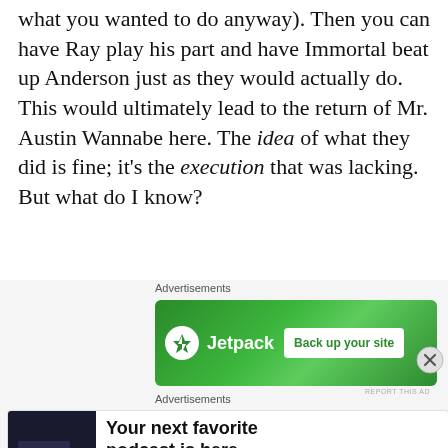what you wanted to do anyway). Then you can have Ray play his part and have Immortal beat up Anderson just as they would actually do. This would ultimately lead to the return of Mr. Austin Wannabe here. The idea of what they did is fine; it's the execution that was lacking. But what do I know?
Advertisements
[Figure (screenshot): Jetpack advertisement banner with green background showing Jetpack logo and 'Back up your site' button]
Advertisements
[Figure (screenshot): Pocket Casts advertisement: 'Your next favorite podcast is here.' with Pocket Casts logo]